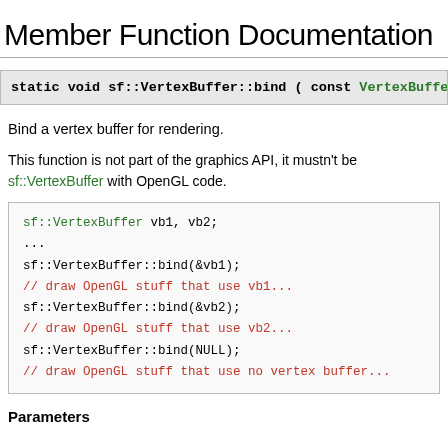Member Function Documentation
static void sf::VertexBuffer::bind ( const VertexBuffer * v
Bind a vertex buffer for rendering.
This function is not part of the graphics API, it mustn't be sf::VertexBuffer with OpenGL code.
[Figure (screenshot): Code block showing sf::VertexBuffer usage: vb1, vb2; ... sf::VertexBuffer::bind(&vb1); // draw OpenGL stuff that use vb1... sf::VertexBuffer::bind(&vb2); // draw OpenGL stuff that use vb2... sf::VertexBuffer::bind(NULL); // draw OpenGL stuff that use no vertex buffer...]
Parameters